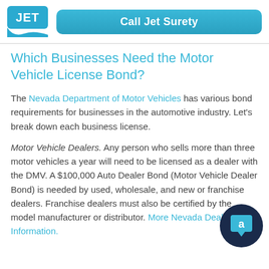Call Jet Surety
Which Businesses Need the Motor Vehicle License Bond?
The Nevada Department of Motor Vehicles has various bond requirements for businesses in the automotive industry. Let's break down each business license.
Motor Vehicle Dealers. Any person who sells more than three motor vehicles a year will need to be licensed as a dealer with the DMV. A $100,000 Auto Dealer Bond (Motor Vehicle Dealer Bond) is needed by used, wholesale, and new or franchise dealers. Franchise dealers must also be certified by the model manufacturer or distributor. More Nevada Dealer Information.